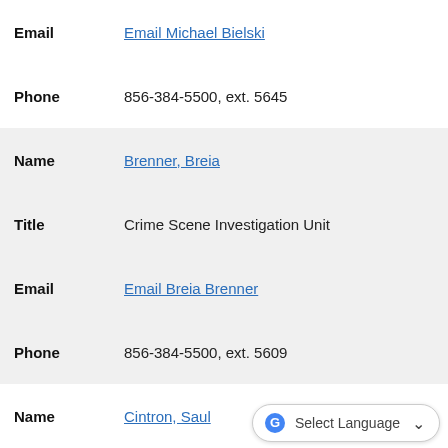| Field | Value |
| --- | --- |
| Email | Email Michael Bielski |
| Phone | 856-384-5500, ext. 5645 |
| Name | Brenner, Breia |
| Title | Crime Scene Investigation Unit |
| Email | Email Breia Brenner |
| Phone | 856-384-5500, ext. 5609 |
| Name | Cintron, Saul |
| Title | Special Investigations Unit |
| Email | Email Saul Cintron |
| Phone | 856-384-5500, ext. 5695 |
| Name | Ferris, Peter |
| Title | Sergeant - Unit Supervisor |